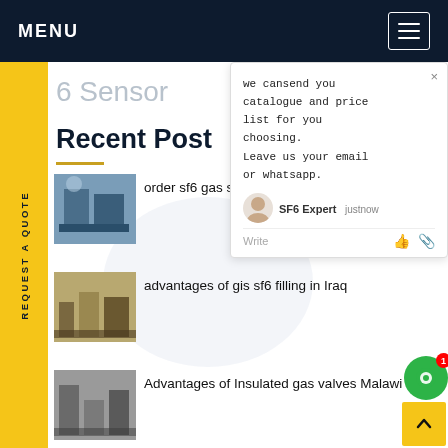MENU
6 Sensor
Recent Post
we cansend you catalogue and price list for you choosing. Leave us your email or whatsapp.
SF6 Expert  justnow
order sf6 gas sensor in Bosnia and Herzegovina
advantages of gis sf6 filling in Iraq
Advantages of Insulated gas valves Malawi